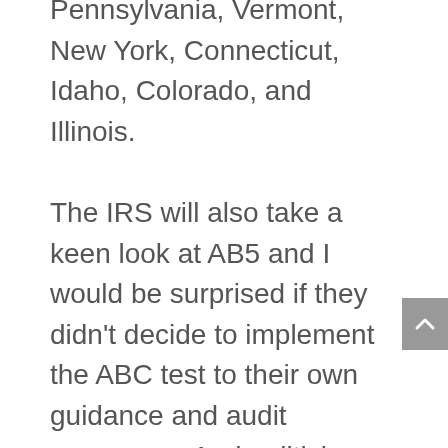Pennsylvania, Vermont, New York, Connecticut, Idaho, Colorado, and Illinois.

The IRS will also take a keen look at AB5 and I would be surprised if they didn't decide to implement the ABC test to their own guidance and audit processes. And politicians are already in the chase – Sen. Bernie Sanders, has introduced the Workplace Democracy Plan, which takes a similar approach to AB5. He and many other